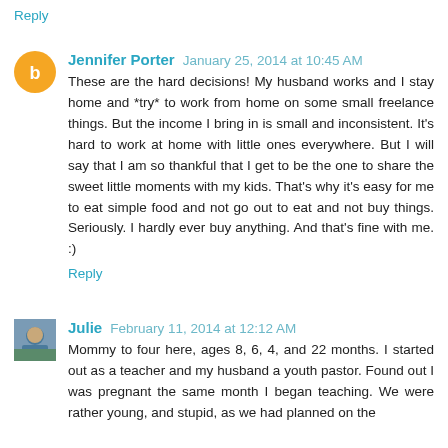Reply
Jennifer Porter  January 25, 2014 at 10:45 AM
These are the hard decisions! My husband works and I stay home and *try* to work from home on some small freelance things. But the income I bring in is small and inconsistent. It's hard to work at home with little ones everywhere. But I will say that I am so thankful that I get to be the one to share the sweet little moments with my kids. That's why it's easy for me to eat simple food and not go out to eat and not buy things. Seriously. I hardly ever buy anything. And that's fine with me. :)
Reply
Julie  February 11, 2014 at 12:12 AM
Mommy to four here, ages 8, 6, 4, and 22 months. I started out as a teacher and my husband a youth pastor. Found out I was pregnant the same month I began teaching. We were rather young, and stupid, as we had planned on the